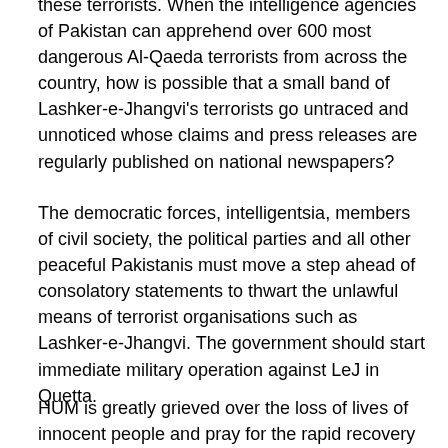these terrorists. When the intelligence agencies of Pakistan can apprehend over 600 most dangerous Al-Qaeda terrorists from across the country, how is possible that a small band of Lashker-e-Jhangvi's terrorists go untraced and unnoticed whose claims and press releases are regularly published on national newspapers?
The democratic forces, intelligentsia, members of civil society, the political parties and all other peaceful Pakistanis must move a step ahead of consolatory statements to thwart the unlawful means of terrorist organisations such as Lashker-e-Jhangvi. The government should start immediate military operation against LeJ in Quetta.
HUM is greatly grieved over the loss of lives of innocent people and pray for the rapid recovery of the injured.